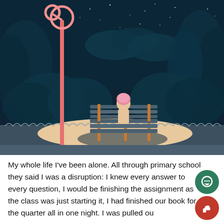[Figure (illustration): Flat vector illustration of a person with pink hair sitting alone on a park bench at night. The scene shows dark teal trees and bushes in the background, a starry night sky, a pink street lamp on the left, a sandy patch with the bench in the center, and a dark blue/grey ground. A decorative scalloped fence runs behind the bench area.]
My whole life I've been alone. All through primary school they said I was a disruption: I knew every answer to every question, I would be finishing the assignment as the class was just starting it, I had finished our book for the quarter all in one night. I was pulled ou